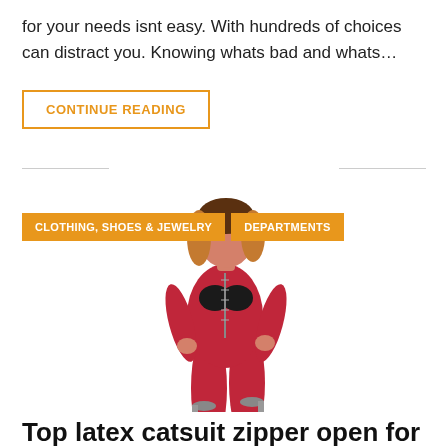for your needs isnt easy. With hundreds of choices can distract you. Knowing whats bad and whats…
CONTINUE READING
CLOTHING, SHOES & JEWELRY
DEPARTMENTS
[Figure (photo): Woman wearing a red latex catsuit with zipper front and high heels, posing with hands on hips]
Top latex catsuit zipper open for